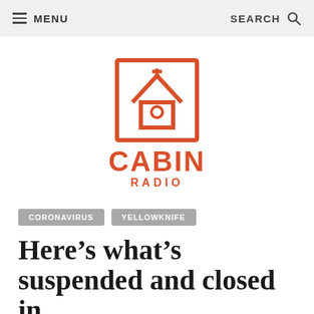MENU   SEARCH
[Figure (logo): Cabin Radio logo: orange square with house/cabin icon above the text CABIN RADIO in orange]
CORONAVIRUS   YELLOWKNIFE
Here’s what’s suspended and closed in